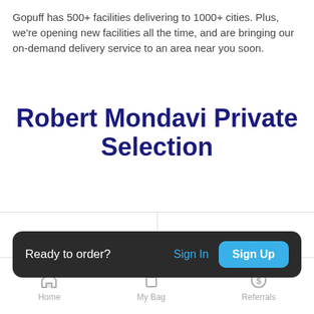Gopuff has 500+ facilities delivering to 1000+ cities. Plus, we're opening new facilities all the time, and are bringing our on-demand delivery service to an area near you soon.
Robert Mondavi Private Selection
[Figure (photo): Product image of Robert Mondavi Private Selection wine box (gold/yellow box) on the left and a red wine bottle on the right, shown side by side in a product listing strip.]
Ready to order?  Sign In  Sign Up
Robert Mondavi Private Selection  Robert Mondavi Private Selection
Home  My Bag  Referrals